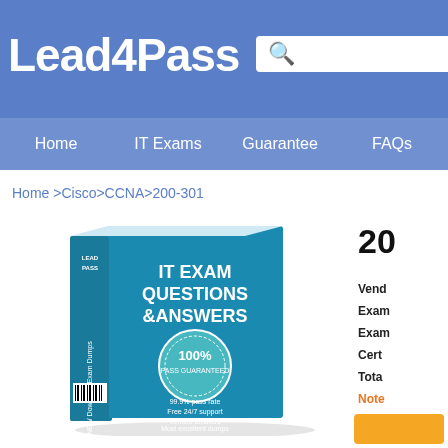Lead4Pass
Home   IT Exams   Guarantee   FAQs
Home >Cisco>CCNA>200-301
[Figure (illustration): IT Exam Questions & Answers book cover with 100% pass guarantee badge, showing Lead4Pass branding, 99.9% pass rate, Free 24/7 support, Verified answers, Most excellent dumps]
20
Vendor:
Exam:
Exam:
Cert:
Total:
Note:
dow